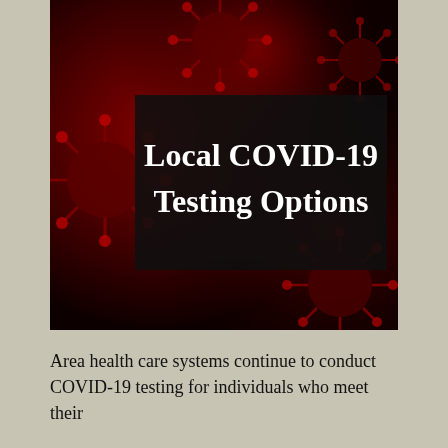[Figure (illustration): Dark red background image featuring coronavirus particles/spikes in deep crimson tones. Overlaid in the center-right is a dark semi-transparent box with white bold text reading 'Local COVID-19 Testing Options'.]
Area health care systems continue to conduct COVID-19 testing for individuals who meet their